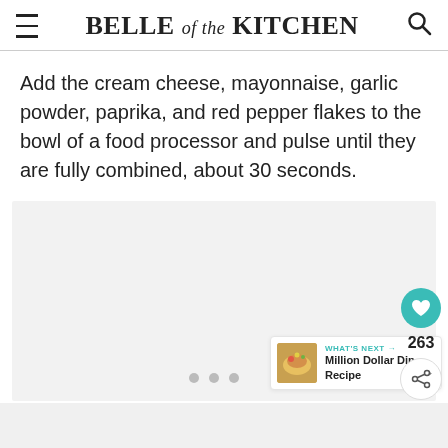BELLE of the KITCHEN
Add the cream cheese, mayonnaise, garlic powder, paprika, and red pepper flakes to the bowl of a food processor and pulse until they are fully combined, about 30 seconds.
[Figure (photo): Image placeholder area with light gray background and three dot carousel indicators]
WHAT'S NEXT → Million Dollar Dip Recipe